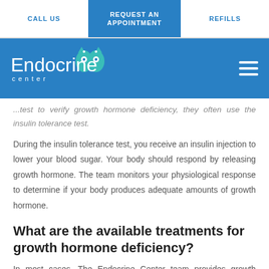CALL US | REQUEST AN APPOINTMENT | REFILLS
[Figure (logo): Endocrine Center logo with teal owl icon on blue background]
...test to verify growth hormone deficiency, they often use the insulin tolerance test.
During the insulin tolerance test, you receive an insulin injection to lower your blood sugar. Your body should respond by releasing growth hormone. The team monitors your physiological response to determine if your body produces adequate amounts of growth hormone.
What are the available treatments for growth hormone deficiency?
In most cases, The Endocrine Center team provides growth hormone replacement therapy to treat this condition and